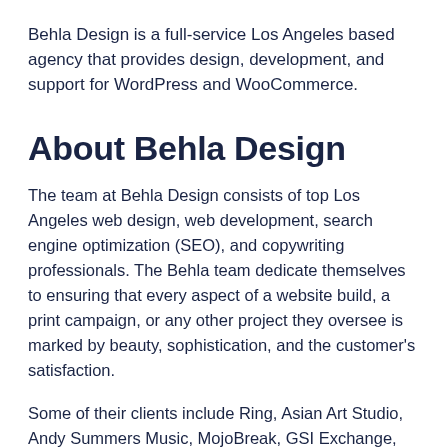Behla Design is a full-service Los Angeles based agency that provides design, development, and support for WordPress and WooCommerce.
About Behla Design
The team at Behla Design consists of top Los Angeles web design, web development, search engine optimization (SEO), and copywriting professionals. The Behla team dedicate themselves to ensuring that every aspect of a website build, a print campaign, or any other project they oversee is marked by beauty, sophistication, and the customer's satisfaction.
Some of their clients include Ring, Asian Art Studio, Andy Summers Music, MojoBreak, GSI Exchange, Robinson Helicopter, AES Business, City Hearts, NRG Recording, and